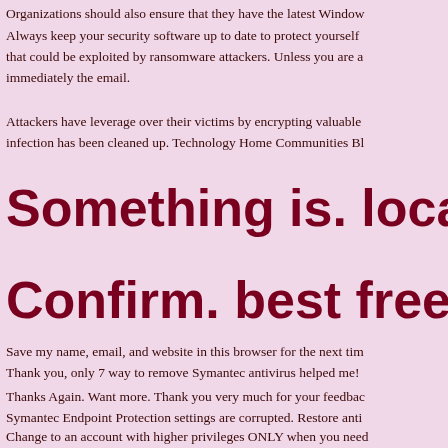Organizations should also ensure that they have the latest Window
Always keep your security software up to date to protect yourself that could be exploited by ransomware attackers. Unless you are a immediately the email.
Attackers have leverage over their victims by encrypting valuable infection has been cleaned up. Technology Home Communities Bl
Something is. local bitc
Confirm. best free cryp
Save my name, email, and website in this browser for the next tim Thank you, only 7 way to remove Symantec antivirus helped me!
Thanks Again. Want more. Thank you very much for your feedbac Symantec Endpoint Protection settings are corrupted. Restore anti
Change to an account with higher privileges ONLY when you need something or some key for this? It seems a new virus and I don't f encrypted the files. I have been working on a novel which is due f